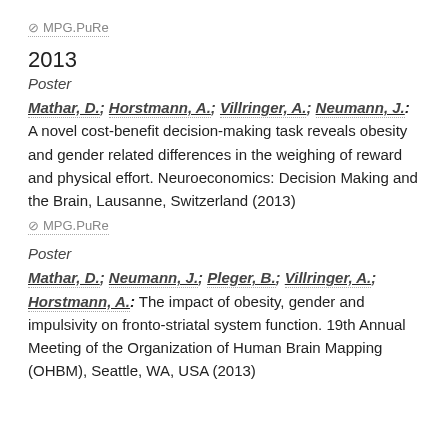MPG.PuRe
2013
Poster
Mathar, D.; Horstmann, A.; Villringer, A.; Neumann, J.: A novel cost-benefit decision-making task reveals obesity and gender related differences in the weighing of reward and physical effort. Neuroeconomics: Decision Making and the Brain, Lausanne, Switzerland (2013)
MPG.PuRe
Poster
Mathar, D.; Neumann, J.; Pleger, B.; Villringer, A.; Horstmann, A.: The impact of obesity, gender and impulsivity on fronto-striatal system function. 19th Annual Meeting of the Organization of Human Brain Mapping (OHBM), Seattle, WA, USA (2013)